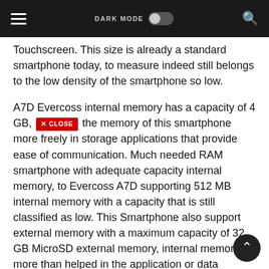DARK MODE
Touchscreen. This size is already a standard smartphone today, to measure indeed still belongs to the low density of the smartphone so low.
A7D Evercoss internal memory has a capacity of 4 GB, the memory of this smartphone more freely in storage applications that provide ease of communication. Much needed RAM smartphone with adequate capacity internal memory, to Evercoss A7D supporting 512 MB internal memory with a capacity that is still classified as low. This Smartphone also support external memory with a maximum capacity of 32 GB MicroSD external memory, internal memory is more than helped in the application or data storage you have. Evercoss A7D supporting capacity Phonebook, SMS, and MMS capacity there are no restrictions, except on the internal memory are full